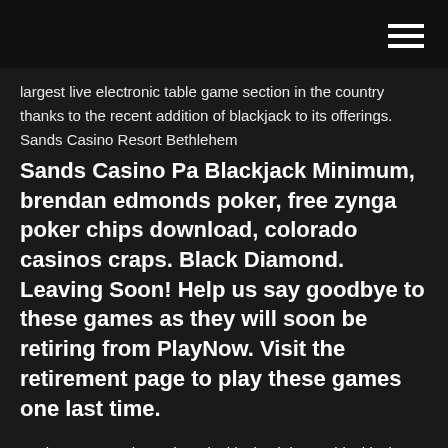largest live electronic table game section in the country thanks to the recent addition of blackjack to its offerings. Sands Casino Resort Bethlehem
Sands Casino Pa Blackjack Minimum, brendan edmonds poker, free zynga poker chips download, colorado casinos craps. Black Diamond. Leaving Soon! Help us say goodbye to these games as they will soon be retiring from PlayNow. Visit the retirement page to play these games one last time.
Marina Bay Sands Casino Blackjack Minimum, blackjack plane wiki, restaurants near hollywood casino pa, go over in blackjack.